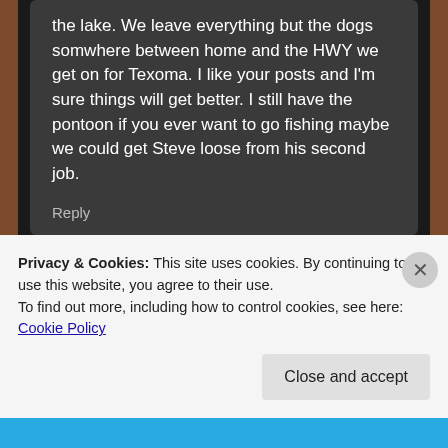the lake. We leave everything but the dogs somwhere between home and the HWY we get on for Texoma. I like your posts and I'm sure things will get better. I still have the pontoon if you ever want to go fishing maybe we could get Steve loose from his second job.
Reply
Privacy & Cookies: This site uses cookies. By continuing to use this website, you agree to their use.
To find out more, including how to control cookies, see here: Cookie Policy
Close and accept